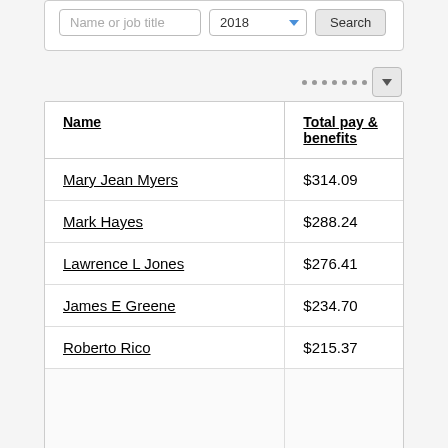[Figure (screenshot): Search interface with Name or job title input, 2018 year dropdown, and Search button]
| Name | Total pay & benefits |
| --- | --- |
| Mary Jean Myers | $314.09 |
| Mark Hayes | $288.24 |
| Lawrence L Jones | $276.41 |
| James E Greene | $234.70 |
| Roberto Rico | $215.37 |